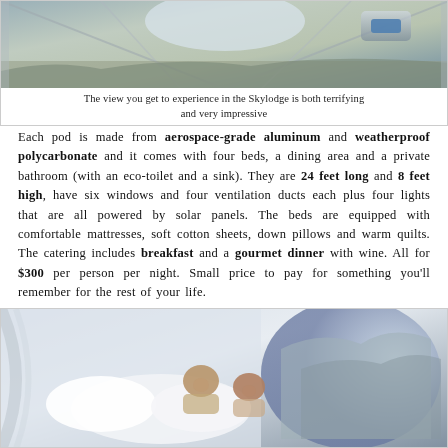[Figure (photo): View from inside the Skylodge pod showing transparent walls and dramatic mountain/cliff scenery]
The view you get to experience in the Skylodge is both terrifying and very impressive
Each pod is made from aerospace-grade aluminum and weatherproof polycarbonate and it comes with four beds, a dining area and a private bathroom (with an eco-toilet and a sink). They are 24 feet long and 8 feet high, have six windows and four ventilation ducts each plus four lights that are all powered by solar panels. The beds are equipped with comfortable mattresses, soft cotton sheets, down pillows and warm quilts. The catering includes breakfast and a gourmet dinner with wine. All for $300 per person per night. Small price to pay for something you'll remember for the rest of your life.
[Figure (photo): Two people lying in bed inside the transparent Skylodge pod with white pillows, smiling at camera, mountain view visible through transparent walls]